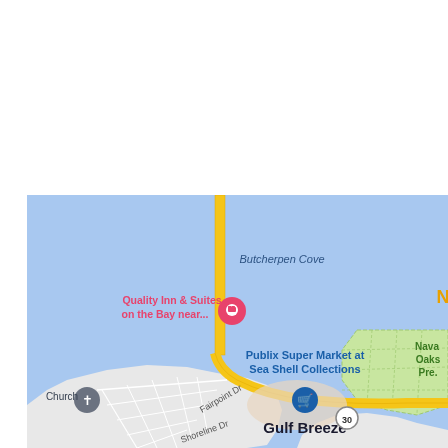[Figure (map): Google Maps screenshot showing Gulf Breeze, Florida area. Shows Butcherpen Cove water body, a yellow highway/bridge running north-south, Quality Inn & Suites on the Bay near... marker in pink/red, Publix Super Market at Sea Shell Collections marker in blue, a church marker, Fairpoint Dr street label, Shoreline Dr street label, Gulf Breeze city label, Naval Oaks Preserve green area on the right, and route 30 marker.]